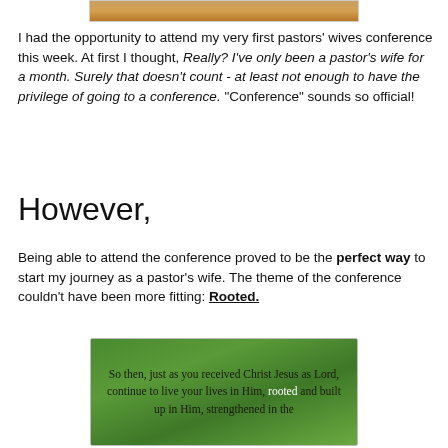[Figure (photo): Partial image at the top of the page, showing a warm-toned photo (possibly food or nature), cropped to a narrow horizontal strip]
I had the opportunity to attend my very first pastors' wives conference this week. At first I thought, Really? I've only been a pastor's wife for a month. Surely that doesn't count - at least not enough to have the privilege of going to a conference. "Conference" sounds so official!
However,
Being able to attend the conference proved to be the perfect way to start my journey as a pastor's wife. The theme of the conference couldn't have been more fitting: Rooted.
[Figure (photo): Green background image with a leaf/tree watermark pattern, containing the text: 'So then, just as you received Christ Jesus as Lord, continue to live your lives in Him, rooted and built up in Him, strengthened in the']